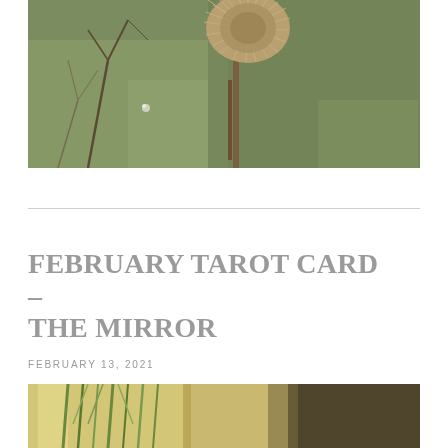[Figure (photo): Close-up photograph of a dried thistle or similar spiky seed head on a brown stem, with green and grey foliage and bare branches in the background.]
FEBRUARY TAROT CARD – THE MIRROR
FEBRUARY 13, 2021
[Figure (photo): Partial photograph showing a glass vase or vessel with green plant stems/grass visible inside, with a dark background.]